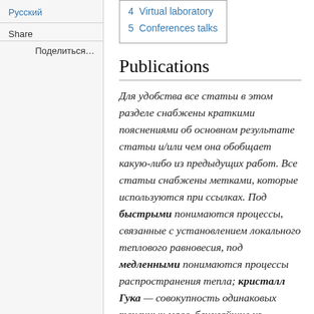4  Virtual laboratory
5  Conferences talks
Publications
Для удобства все статьи в этом разделе снабжены краткими пояснениями об основном результате статьи и/или чем она обобщает какую-либо из предыдущих работ. Все статьи снабжены метками, которые используются при ссылках. Под быстрыми понимаются процессы, связанные с установлением локального теплового равновесия, под медленными понимаются процессы распространения тепла; кристалл Гука — совокупность одинаковых точечных масс, ближайшие из
Русский
Share
Поделиться…